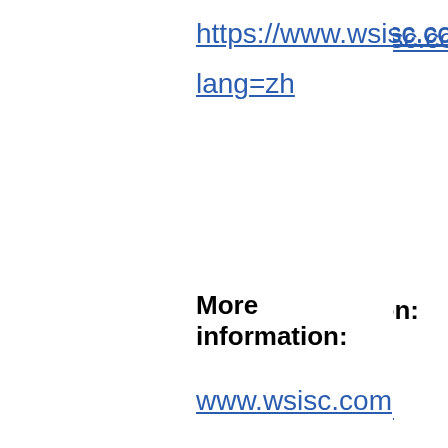https://www.wsisc.com/contact?lang=zh
More information:
www.wsisc.com
http://www.wsisc.com/services
https://twitter.com/wsimmi
https://www.youtube.co